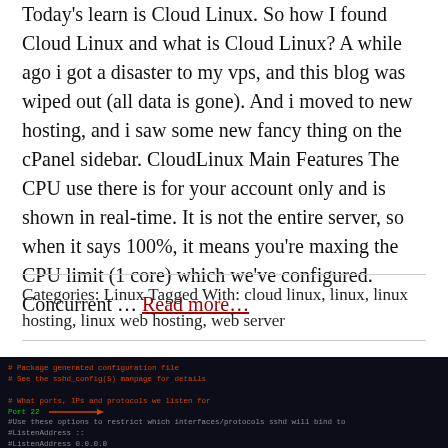Today's learn is Cloud Linux. So how I found Cloud Linux and what is Cloud Linux? A while ago i got a disaster to my vps, and this blog was wiped out (all data is gone). And i moved to new hosting, and i saw some new fancy thing on the cPanel sidebar. CloudLinux Main Features The CPU use there is for your account only and is shown in real-time. It is not the entire server, so when it says 100%, it means you're maxing the CPU limit (1 core) which we've configured. Concurrent … Read more…
Categories: Linux Tagged With: cloud linux, linux, linux hosting, linux web hosting, web server
[Figure (screenshot): Terminal/SSH config file screenshot showing sshd_config contents with Port 22 highlighted and a red arrow, on a dark background with green monospace text]